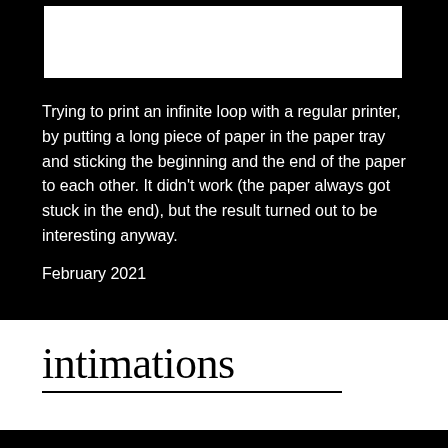[Figure (photo): White rectangular area on black background, partial image visible at top]
Trying to print an infinite loop with a regular printer, by putting a long piece of paper in the paper tray and sticking the beginning and the end of the paper to each other. It didn't work (the paper always got stuck in the end), but the result turned out to be interesting anyway.
February 2021
intimations
[Figure (photo): White rectangular area on black background, partial image visible at bottom]